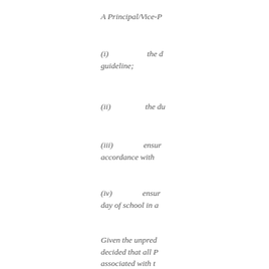A Principal/Vice-P
(i)                    the d guideline;
(ii)                   the du
(iii)                  ensur accordance with
(iv)                  ensur day of school in a
Given the unpred decided that all P associated with t receive 5 days of rate (top step) ar